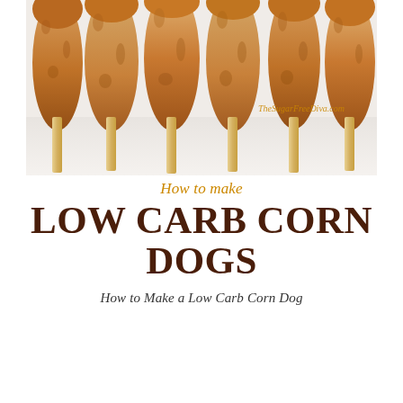[Figure (photo): A row of golden-brown corn dogs on wooden sticks arranged side by side on a white surface, viewed from above at an angle. Watermark reads 'TheSugarFreeDiva.com' in orange script.]
How to make Low Carb Corn Dogs
How to Make a Low Carb Corn Dog